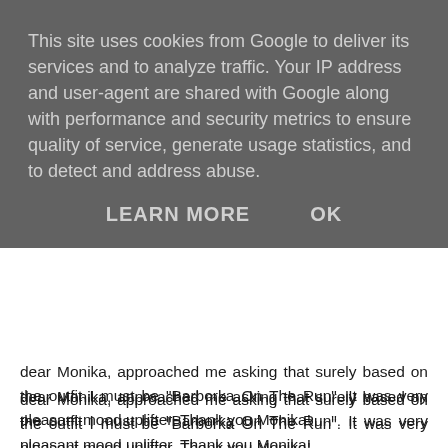This site uses cookies from Google to deliver its services and to analyze traffic. Your IP address and user-agent are shared with Google along with performance and security metrics to ensure quality of service, generate usage statistics, and to detect and address abuse.
LEARN MORE   OK
dear Monika, approached me asking that surely based on the outfit I must be "Barborka On The Run". It was very pleasant mood uplifter. Thank you Monika!
And there we were running to the sounds of Bedřich Smetana's Vltava. Honestly, every year that is very touching moment. I crossed the starting line with 2:50 on the official watch. It seemed to me more crowded that the previous years. It is true that this year was maximum with 11 thousand runners, but I also think that fact that I was in corridor going for 1:45:00 and I was aiming for 1:40:00 pace actually. I couldn't know The Coach will help me get that fast :) Thank you Coach! On the other hand that was really helpful, because first time ever I didn't overspeed the beginning. I planned to do the first kilometer at 4:50 and I did